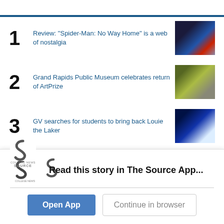1 Review: "Spider-Man: No Way Home" is a web of nostalgia
2 Grand Rapids Public Museum celebrates return of ArtPrize
3 GV searches for students to bring back Louie the Laker
4 Moving On Up? GV Athletics disputes football recruits'
Read this story in The Source App...
Open App
Continue in browser